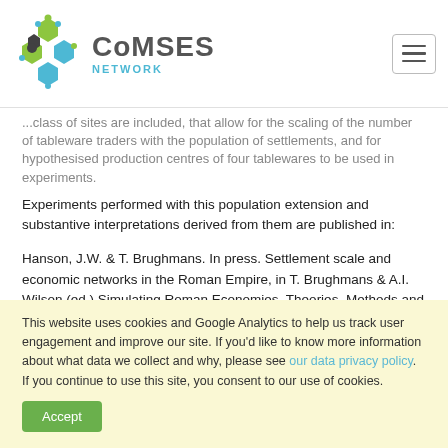CoMSES NETWORK
...class of sites are included, that allow for the scaling of the number of tableware traders with the population of settlements, and for hypothesised production centres of four tablewares to be used in experiments.
Experiments performed with this population extension and substantive interpretations derived from them are published in:
Hanson, J.W. & T. Brughmans. In press. Settlement scale and economic networks in the Roman Empire, in T. Brughmans & A.I. Wilson (ed.) Simulating Roman Economies. Theories, Methods and Computational Models. Oxford: Oxford University Press.
...
This website uses cookies and Google Analytics to help us track user engagement and improve our site. If you'd like to know more information about what data we collect and why, please see our data privacy policy. If you continue to use this site, you consent to our use of cookies.